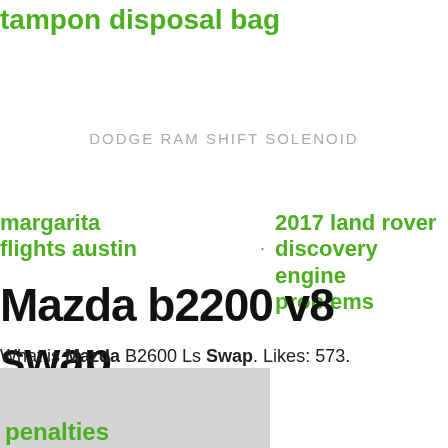tampon disposal bag
DODGE RAM SHIFT SOLENOID
margarita flights austin
2017 land rover discovery engine problems
Mazda b2200 v8 swap
What is Mazda B2600 Ls Swap. Likes: 573. Shares: 287.
supermarket
sweep
penalties